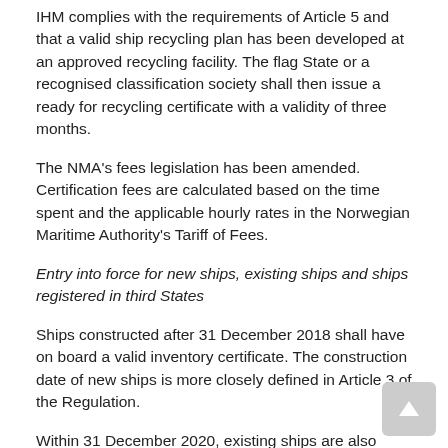IHM complies with the requirements of Article 5 and that a valid ship recycling plan has been developed at an approved recycling facility. The flag State or a recognised classification society shall then issue a ready for recycling certificate with a validity of three months.
The NMA's fees legislation has been amended. Certification fees are calculated based on the time spent and the applicable hourly rates in the Norwegian Maritime Authority's Tariff of Fees.
Entry into force for new ships, existing ships and ships registered in third States
Ships constructed after 31 December 2018 shall have on board a valid inventory certificate. The construction date of new ships is more closely defined in Article 3 of the Regulation.
Within 31 December 2020, existing ships are also required to have on board a valid inventory certificate. If such ships are going for recycling after 31 December 2018, the ship must have a valid ready for recycling